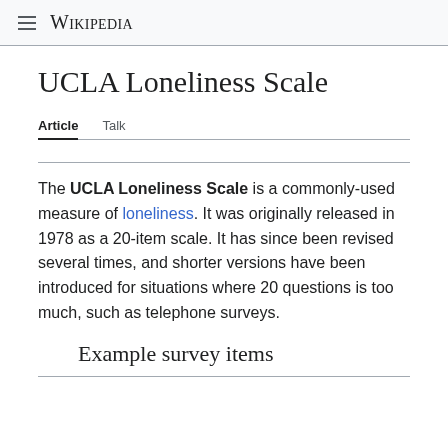Wikipedia
UCLA Loneliness Scale
Article   Talk
The UCLA Loneliness Scale is a commonly-used measure of loneliness. It was originally released in 1978 as a 20-item scale. It has since been revised several times, and shorter versions have been introduced for situations where 20 questions is too much, such as telephone surveys.
Example survey items